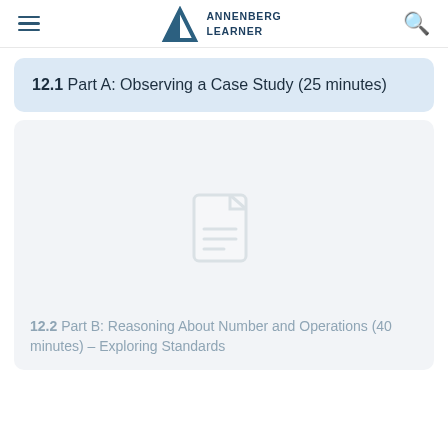Annenberg Learner
12.1 Part A: Observing a Case Study (25 minutes)
[Figure (illustration): Document placeholder icon (gray outline of a document with lines)]
12.2 Part B: Reasoning About Number and Operations (40 minutes) – Exploring Standards